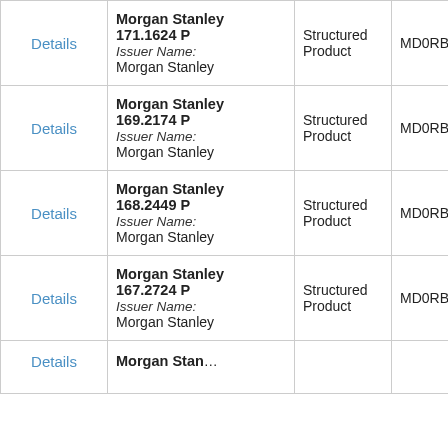|  | Product Name | Type | Code | Exchange |
| --- | --- | --- | --- | --- |
| Details | Morgan Stanley 171.1624 P
Issuer Name: Morgan Stanley | Structured Product | MD0RBT | SWB |
| Details | Morgan Stanley 169.2174 P
Issuer Name: Morgan Stanley | Structured Product | MD0RBU | SWB |
| Details | Morgan Stanley 168.2449 P
Issuer Name: Morgan Stanley | Structured Product | MD0RBV | SWB |
| Details | Morgan Stanley 167.2724 P
Issuer Name: Morgan Stanley | Structured Product | MD0RBW | SWB |
| Details | Morgan Stanley... |  |  |  |